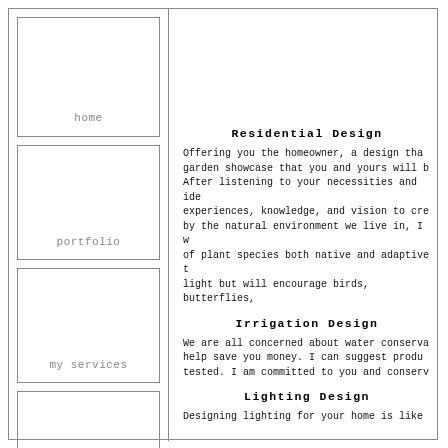[Figure (other): Navigation box with label 'home']
[Figure (other): Navigation box with label 'portfolio']
[Figure (other): Navigation box with label 'my services']
[Figure (other): Navigation box (partial, no label visible)]
Residential Design
Offering you the homeowner, a design that garden showcase that you and yours will b After listening to your necessities and ide experiences, knowledge, and vision to cre by the natural environment we live in, I w of plant species both native and adaptive t light but will encourage birds, butterflies,
Irrigation Design
We are all concerned about water conserva help save you money. I can suggest produ tested. I am committed to you and conserv
Lighting Design
Designing lighting for your home is like